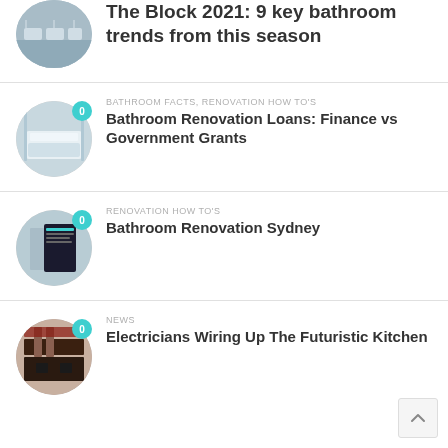[Figure (photo): Circular thumbnail of a bathroom with white sinks (cropped at top)]
The Block 2021: 9 key bathroom trends from this season
[Figure (photo): Circular thumbnail of a modern bathroom with white bathtub, badge showing 0]
BATHROOM FACTS, RENOVATION HOW TO'S
Bathroom Renovation Loans: Finance vs Government Grants
[Figure (photo): Circular thumbnail showing a book cover titled 'Bathroom Renovation Sydney', badge showing 0]
RENOVATION HOW TO'S
Bathroom Renovation Sydney
[Figure (photo): Circular thumbnail of a modern kitchen interior, badge showing 0]
NEWS
Electricians Wiring Up The Futuristic Kitchen